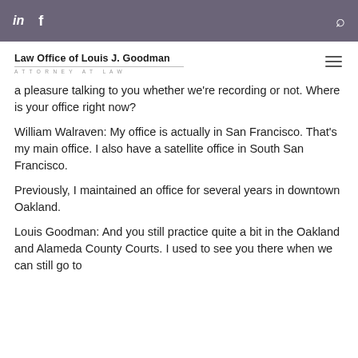in  f  [search icon]
[Figure (logo): Law Office of Louis J. Goodman — Attorney at Law logo with hamburger menu icon]
a pleasure talking to you whether we're recording or not. Where is your office right now?
William Walraven: My office is actually in San Francisco. That's my main office. I also have a satellite office in South San Francisco.
Previously, I maintained an office for several years in downtown Oakland.
Louis Goodman: And you still practice quite a bit in the Oakland and Alameda County Courts. I used to see you there when we can still go to